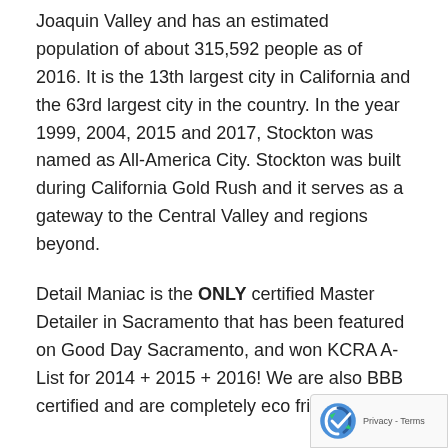Joaquin Valley and has an estimated population of about 315,592 people as of 2016. It is the 13th largest city in California and the 63rd largest city in the country. In the year 1999, 2004, 2015 and 2017, Stockton was named as All-America City. Stockton was built during California Gold Rush and it serves as a gateway to the Central Valley and regions beyond.
Detail Maniac is the ONLY certified Master Detailer in Sacramento that has been featured on Good Day Sacramento, and won KCRA A-List for 2014 + 2015 + 2016! We are also BBB certified and are completely eco friendly.
Detail Maniac, established in 2011, specializes in complete automotive care and paint restoration. We provide clients professional paint & headlight restoration, interior cleaning & odor neutralization, fabric & leather treatment, claybar & waxing sealants, ECO waterless car wash, and much more. Detail M... guides hands-on enthusiasts with the proper chemicals, pads, &